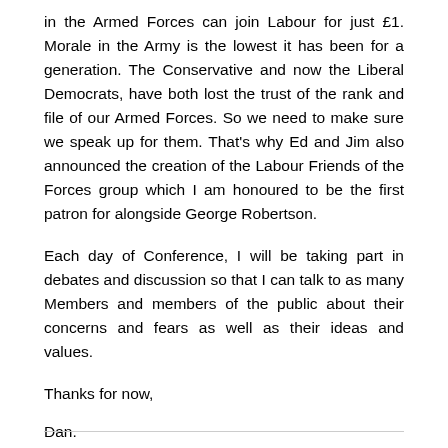in the Armed Forces can join Labour for just £1. Morale in the Army is the lowest it has been for a generation. The Conservative and now the Liberal Democrats, have both lost the trust of the rank and file of our Armed Forces. So we need to make sure we speak up for them. That's why Ed and Jim also announced the creation of the Labour Friends of the Forces group which I am honoured to be the first patron for alongside George Robertson.
Each day of Conference, I will be taking part in debates and discussion so that I can talk to as many Members and members of the public about their concerns and fears as well as their ideas and values.
Thanks for now,
Dan.